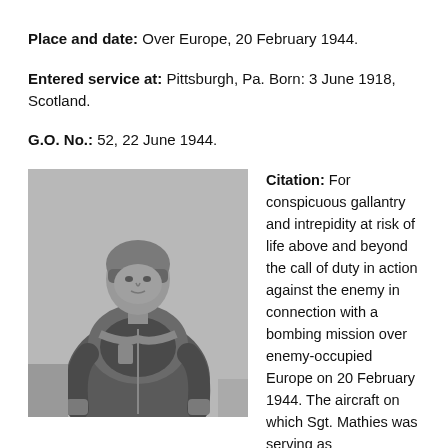Place and date: Over Europe, 20 February 1944.
Entered service at: Pittsburgh, Pa. Born: 3 June 1918, Scotland.
G.O. No.: 52, 22 June 1944.
[Figure (photo): Black and white portrait photograph of a WWII aviator wearing a leather flight jacket and flight helmet, standing in front of an aircraft.]
Citation: For conspicuous gallantry and intrepidity at risk of life above and beyond the call of duty in action against the enemy in connection with a bombing mission over enemy-occupied Europe on 20 February 1944. The aircraft on which Sgt. Mathies was serving as